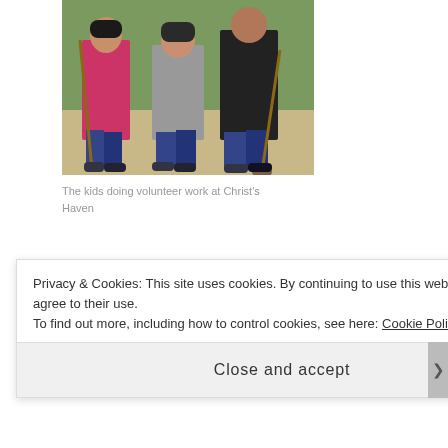[Figure (photo): Three kids standing outdoors doing volunteer work, holding rakes and shovels, on a dirt/sandy area with grass in background.]
The kids doing volunteer work at Christ's Haven
Well, lots has changed since my last post....I am now getting ready to start the new homeschool year with my two kiddos and my niece Caycee.  She is 17 and is a
Privacy & Cookies: This site uses cookies. By continuing to use this website, you agree to their use.
To find out more, including how to control cookies, see here: Cookie Policy
Close and accept